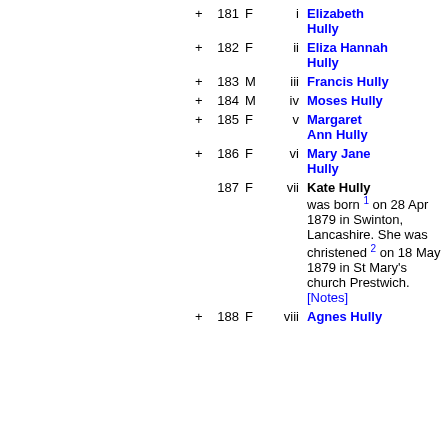+ 181 F i Elizabeth Hully
+ 182 F ii Eliza Hannah Hully
+ 183 M iii Francis Hully
+ 184 M iv Moses Hully
+ 185 F v Margaret Ann Hully
+ 186 F vi Mary Jane Hully
187 F vii Kate Hully was born 1 on 28 Apr 1879 in Swinton, Lancashire. She was christened 2 on 18 May 1879 in St Mary's church Prestwich. [Notes]
+ 188 F viii Agnes Hully